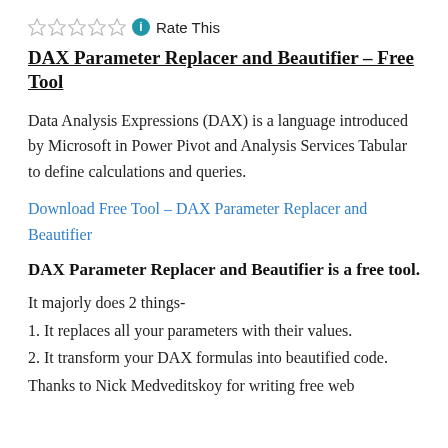Rate This
DAX Parameter Replacer and Beautifier – Free Tool
Data Analysis Expressions (DAX) is a language introduced by Microsoft in Power Pivot and Analysis Services Tabular to define calculations and queries.
Download Free Tool – DAX Parameter Replacer and Beautifier
DAX Parameter Replacer and Beautifier is a free tool.
It majorly does 2 things-
1. It replaces all your parameters with their values.
2. It transform your DAX formulas into beautified code.
Thanks to Nick Medveditskoy for writing free web